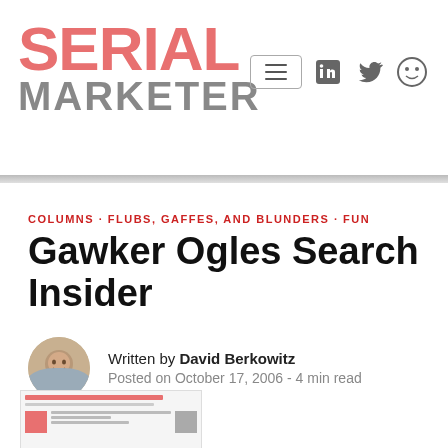Serial Marketer
COLUMNS · FLUBS, GAFFES, AND BLUNDERS · FUN
Gawker Ogles Search Insider
Written by David Berkowitz
Posted on October 17, 2006 - 4 min read
[Figure (screenshot): Screenshot preview of a webpage with red and gray elements]